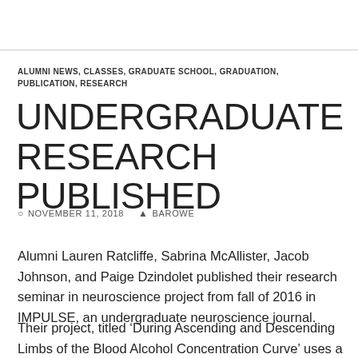ALUMNI NEWS, CLASSES, GRADUATE SCHOOL, GRADUATION, PUBLICATION, RESEARCH
UNDERGRADUATE RESEARCH PUBLISHED
NOVEMBER 11, 2018   BAROWE
Alumni Lauren Ratcliffe, Sabrina McAllister, Jacob Johnson, and Paige Dzindolet published their research seminar in neuroscience project from fall of 2016 in IMPULSE, an undergraduate neuroscience journal.
Their project, titled ‘During Ascending and Descending Limbs of the Blood Alcohol Concentration Curve’ uses a